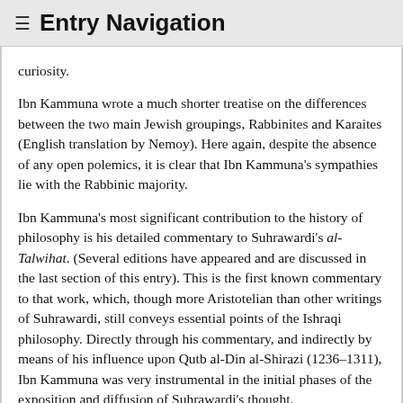≡ Entry Navigation
curiosity.
Ibn Kammuna wrote a much shorter treatise on the differences between the two main Jewish groupings, Rabbinites and Karaites (English translation by Nemoy). Here again, despite the absence of any open polemics, it is clear that Ibn Kammuna's sympathies lie with the Rabbinic majority.
Ibn Kammuna's most significant contribution to the history of philosophy is his detailed commentary to Suhrawardi's al-Talwihat. (Several editions have appeared and are discussed in the last section of this entry). This is the first known commentary to that work, which, though more Aristotelian than other writings of Suhrawardi, still conveys essential points of the Ishraqi philosophy. Directly through his commentary, and indirectly by means of his influence upon Qutb al-Din al-Shirazi (1236–1311), Ibn Kammuna was very instrumental in the initial phases of the exposition and diffusion of Suhrawardi's thought.
Al-Jadid fi (khtiyar (The New Method) is...